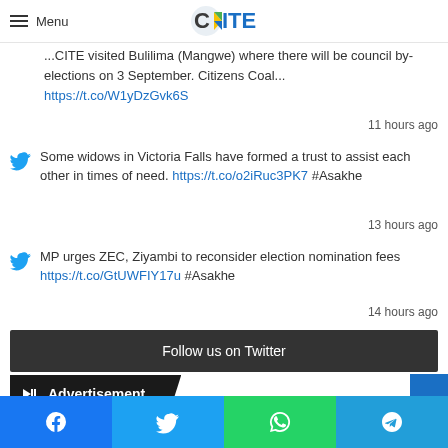Menu | CITE logo
...CITE visited Bulilima (Mangwe) where there will be council by-elections on 3 September. Citizens Coal... https://t.co/W1yDzGvk6S
11 hours ago
Some widows in Victoria Falls have formed a trust to assist each other in times of need. https://t.co/o2iRuc3PK7 #Asakhe
13 hours ago
MP urges ZEC, Ziyambi to reconsider election nomination fees https://t.co/GtUWFIY17u #Asakhe
14 hours ago
Follow us on Twitter
Advertisement
Facebook | Twitter | WhatsApp | Telegram